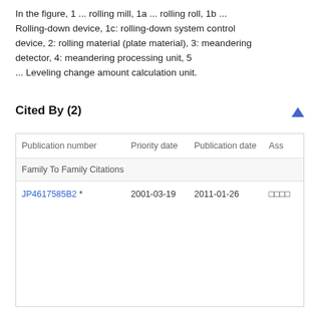In the figure, 1 ... rolling mill, 1a ... rolling roll, 1b ... Rolling-down device, 1c: rolling-down system control device, 2: rolling material (plate material), 3: meandering detector, 4: meandering processing unit, 5 ... Leveling change amount calculation unit.
Cited By (2)
| Publication number | Priority date | Publication date | Ass |
| --- | --- | --- | --- |
| Family To Family Citations |  |  |  |
| JP4617585B2 * | 2001-03-19 | 2011-01-26 | □□□□ |